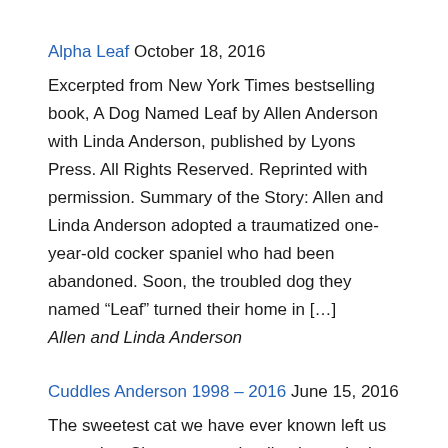Alpha Leaf October 18, 2016
Excerpted from New York Times bestselling book, A Dog Named Leaf by Allen Anderson with Linda Anderson, published by Lyons Press. All Rights Reserved. Reprinted with permission. Summary of the Story: Allen and Linda Anderson adopted a traumatized one-year-old cocker spaniel who had been abandoned. Soon, the troubled dog they named “Leaf” turned their home in […]
Allen and Linda Anderson
Cuddles Anderson 1998 – 2016 June 15, 2016
The sweetest cat we have ever known left us yesterday. She went to a healing home in the inner worlds. But our world will never be the same without her. We found this little black-and-white ball of fur in a bin full of kittens at the animal shelter. Linda said to all the kitties, “You […]